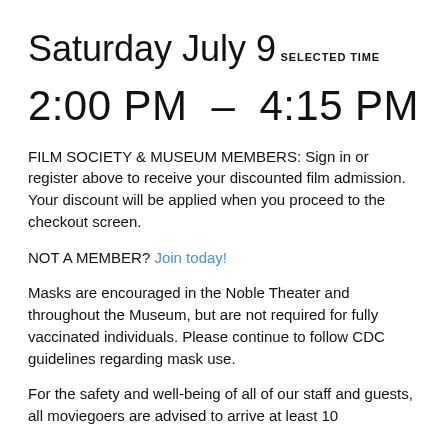Saturday July 9
SELECTED TIME
2:00 PM  –  4:15 PM
FILM SOCIETY & MUSEUM MEMBERS: Sign in or register above to receive your discounted film admission. Your discount will be applied when you proceed to the checkout screen.
NOT A MEMBER? Join today!
Masks are encouraged in the Noble Theater and throughout the Museum, but are not required for fully vaccinated individuals. Please continue to follow CDC guidelines regarding mask use.
For the safety and well-being of all of our staff and guests, all moviegoers are advised to arrive at least 10